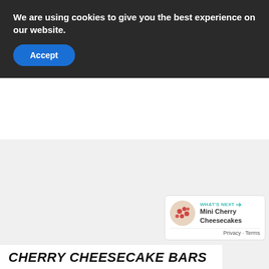We are using cookies to give you the best experience on our website.
Accept
[Figure (screenshot): Gray content area placeholder with social action buttons (heart, count=1, share) on the right side]
WHAT'S NEXT → Mini Cherry Cheesecakes
Privacy · Terms
CHERRY CHEESECAKE BARS